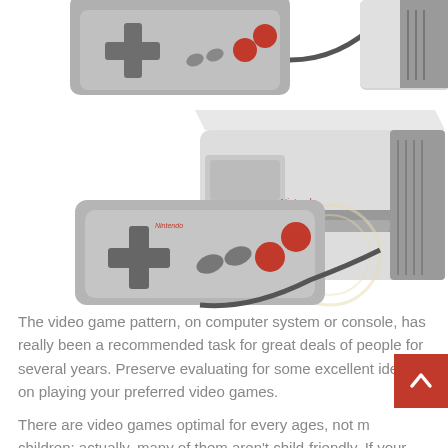[Figure (photo): NES Nintendo Entertainment System console with two controllers connected by cables, shown from a slightly elevated angle. The top portion shows a close-up of a controller and part of the console, while the lower portion shows the full console unit with a controller in the foreground.]
The video game pattern, on computer system or console, has really been a recommended task for great deals of people for several years. Preserve evaluating for some excellent ideas on playing your preferred video games.
There are video games optimal for every ages, not m... children; actually, many of them aren't child-friendly. If your computer game purchase is for an extra person,